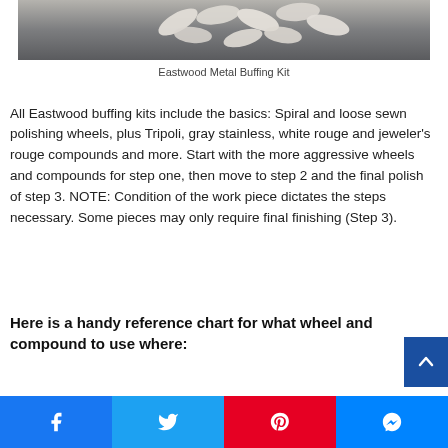[Figure (photo): Photo of white polishing/buffing compound bars scattered on a dark gray surface, shot from above at slight angle.]
Eastwood Metal Buffing Kit
All Eastwood buffing kits include the basics: Spiral and loose sewn polishing wheels, plus Tripoli, gray stainless, white rouge and jeweler's rouge compounds and more. Start with the more aggressive wheels and compounds for step one, then move to step 2 and the final polish of step 3. NOTE: Condition of the work piece dictates the steps necessary. Some pieces may only require final finishing (Step 3).
Here is a handy reference chart for what wheel and compound to use where:
[Figure (other): Social share bar with Facebook, Twitter, Pinterest, and Messenger buttons]